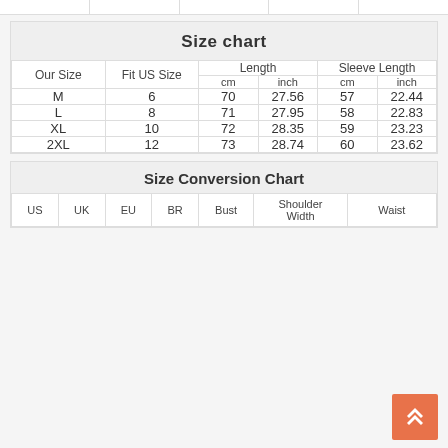| Our Size | Fit US Size | Length cm | Length inch | Sleeve Length cm | Sleeve Length inch |
| --- | --- | --- | --- | --- | --- |
| M | 6 | 70 | 27.56 | 57 | 22.44 |
| L | 8 | 71 | 27.95 | 58 | 22.83 |
| XL | 10 | 72 | 28.35 | 59 | 23.23 |
| 2XL | 12 | 73 | 28.74 | 60 | 23.62 |
| US | UK | EU | BR | Bust | Shoulder Width | Waist |
| --- | --- | --- | --- | --- | --- | --- |